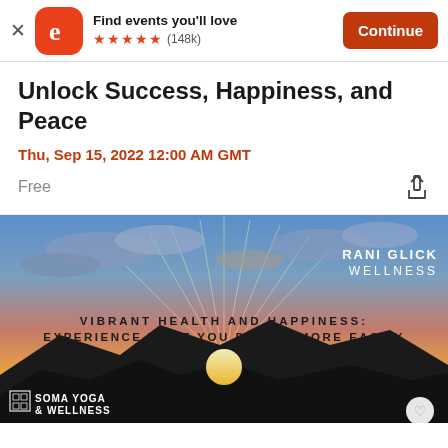Find events you'll love ★★★★★ (148k) Continue
Unlock Success, Happiness, and Peace
Thu, Sep 15, 2022 12:00 AM GMT
Free
[Figure (illustration): Sunset landscape with mountains and dramatic sky. Text overlays: 'RANI GLICK WELLNESS' in top right, 'VIBRANT HEALTH AND HAPPINESS: EXPERIENCE WHAT YOU DESIRE MORE EASILY' in center, 'SOMA YOGA & WELLNESS' logo in bottom left with a QR code icon.]